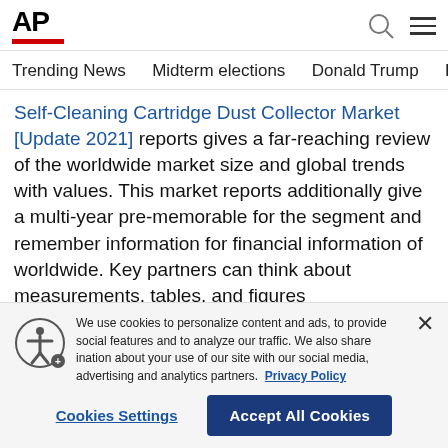AP
Trending News   Midterm elections   Donald Trump   Russia-Ukr
Self-Cleaning Cartridge Dust Collector Market [Update 2021] reports gives a far-reaching review of the worldwide market size and global trends with values. This market reports additionally give a multi-year pre-memorable for the segment and remember information for financial information of worldwide. Key partners can think about measurements, tables, and figures
We use cookies to personalize content and ads, to provide social features and to analyze our traffic. We also share information about your use of our site with our social media, advertising and analytics partners. Privacy Policy
Cookies Settings   Accept All Cookies